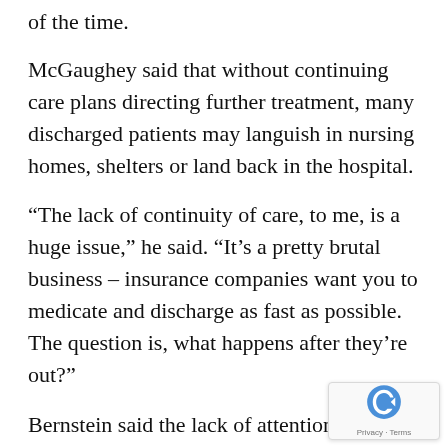of the time.
McGaughey said that without continuing care plans directing further treatment, many discharged patients may languish in nursing homes, shelters or land back in the hospital.
“The lack of continuity of care, to me, is a huge issue,” he said. “It’s a pretty brutal business – insurance companies want you to medicate and discharge as fast as possible. The question is, what happens after they’re out?”
Bernstein said the lack of attention to continuing care plans was “jaw-dropping.”
“The…